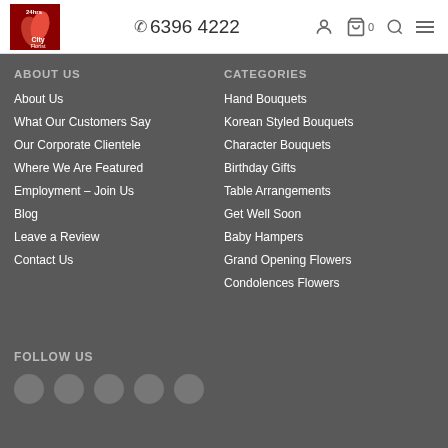24hrs City Florist — 6396 4222
ABOUT US
About Us
What Our Customers Say
Our Corporate Clientele
Where We Are Featured
Employment – Join Us
Blog
Leave a Review
Contact Us
CATEGORIES
Hand Bouquets
Korean Styled Bouquets
Character Bouquets
Birthday Gifts
Table Arrangements
Get Well Soon
Baby Hampers
Grand Opening Flowers
Condolences Flowers
FOLLOW US